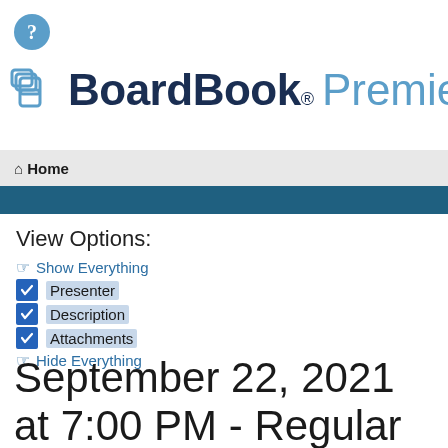[Figure (logo): Question mark help icon in a teal circle]
[Figure (logo): BoardBook Premier logo with icon]
Home
View Options:
Show Everything
Presenter
Description
Attachments
Hide Everything
September 22, 2021 at 7:00 PM - Regular